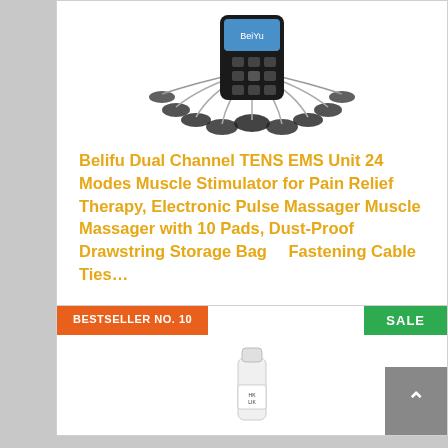[Figure (photo): Belifu TENS EMS unit device with electrode pads arranged around it]
Belifu Dual Channel TENS EMS Unit 24 Modes Muscle Stimulator for Pain Relief Therapy, Electronic Pulse Massager Muscle Massager with 10 Pads, Dust-Proof Drawstring Storage Bag【 Fastening Cable Ties…
$35.99 ✓Prime
Buy on Amazon
BESTSELLER NO. 10
SALE
[Figure (photo): Small white bottle product with label, partially visible at the bottom of the page]